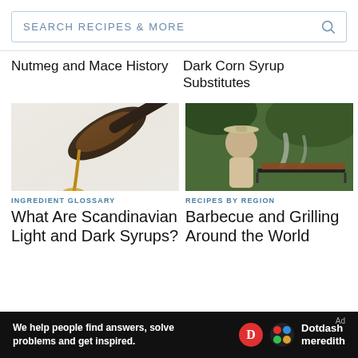SEARCH RECIPES & MORE
Nutmeg and Mace History
Dark Corn Syrup Substitutes
[Figure (photo): A spoon dripping golden syrup/honey against a light background]
INGREDIENT GLOSSARY
What Are Scandinavian Light and Dark Syrups?
[Figure (photo): A man in a hat grilling meat at a barbecue outdoors with smoke rising]
RECIPES BY REGION
Barbecue and Grilling Around the World
We help people find answers, solve problems and get inspired. Dotdash meredith